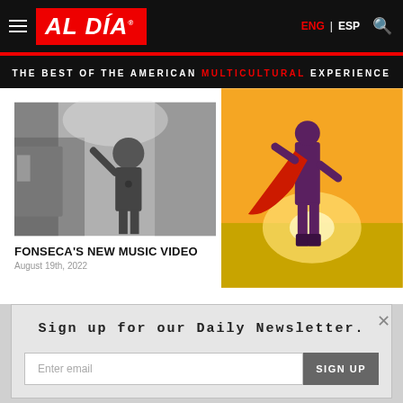AL DÍA | ENG | ESP
THE BEST OF THE AMERICAN MULTICULTURAL EXPERIENCE
[Figure (photo): Black and white photo of a male performer singing on stage]
FONSECA'S NEW MUSIC VIDEO
August 19th, 2022
[Figure (photo): Color photo of a person in a red cape standing in a field at sunset]
Sign up for our Daily Newsletter.
Enter email
SIGN UP